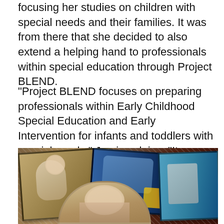focusing her studies on children with special needs and their families. It was from there that she decided to also extend a helping hand to professionals within special education through Project BLEND.
“Project BLEND focuses on preparing professionals within Early Childhood Special Education and Early Intervention for infants and toddlers with special needs,” Jami explains. “It supports professional development to blend practices within the fields of Early Childhood Special Education and Early Intervention to support interactions between systems, smooth transitions for families and shared policy or advocacy efforts.”
[Figure (photo): A collage of photographs with a glittery/sparkle border showing children and a person, arranged in overlapping frames]